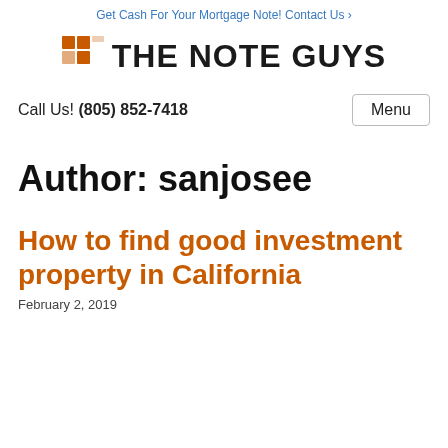Get Cash For Your Mortgage Note! Contact Us ›
[Figure (logo): The Note Guys logo with orange grid icon and bold black text 'THE NOTE GUYS']
Call Us! (805) 852-7418
Author: sanjosee
How to find good investment property in California
February 2, 2019